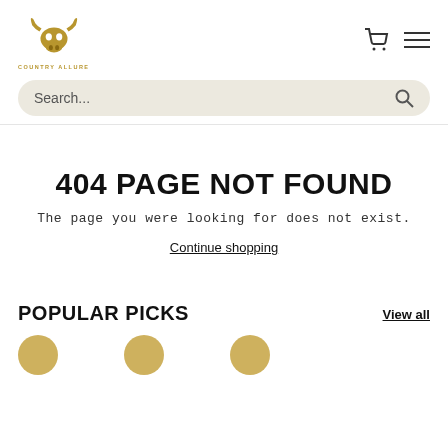[Figure (logo): Country Allure logo: golden/brown bull skull icon with text COUNTRY ALLURE below]
[Figure (screenshot): Shopping cart icon and hamburger menu icon in top right]
Search...
404 PAGE NOT FOUND
The page you were looking for does not exist.
Continue shopping
POPULAR PICKS
View all